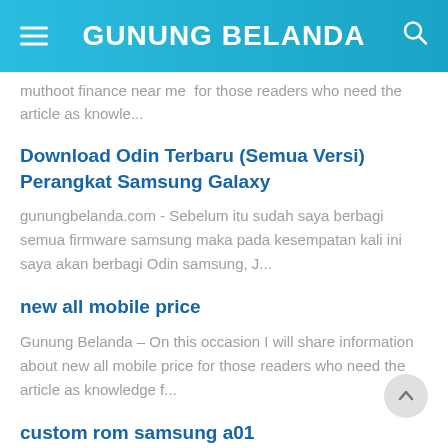GUNUNG BELANDA
muthoot finance near me  for those readers who need the article as knowle...
Download Odin Terbaru (Semua Versi) Perangkat Samsung Galaxy
gunungbelanda.com - Sebelum itu sudah saya berbagi semua firmware samsung maka pada kesempatan kali ini saya akan berbagi Odin samsung, J...
new all mobile price
Gunung Belanda – On this occasion I will share information about new all mobile price for those readers who need the article as knowledge f...
custom rom samsung a01
Gunungbelanda.com – Halo sahabat terhormat masih dalam dunia